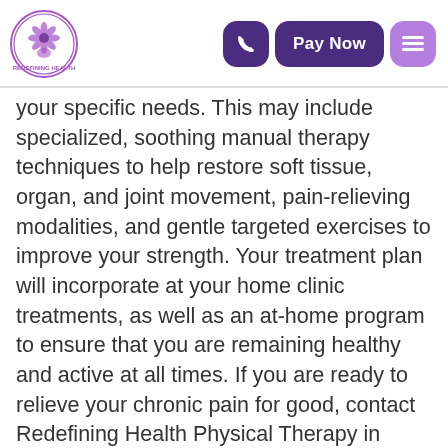Redefining Health [logo] | Pay Now [navigation]
your specific needs. This may include specialized, soothing manual therapy techniques to help restore soft tissue, organ, and joint movement, pain-relieving modalities, and gentle targeted exercises to improve your strength. Your treatment plan will incorporate at your home clinic treatments, as well as an at-home program to ensure that you are remaining healthy and active at all times. If you are ready to relieve your chronic pain for good, contact Redefining Health Physical Therapy in Portland, OR today to request an in-home physical therapy appointment. Our dedicated mobile physical therapists would be happy to